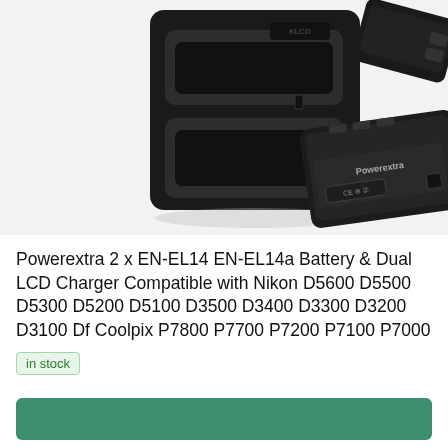[Figure (photo): Product photo showing a black dual-slot battery charger on the left and two EN-EL14 batteries on the right (one above, one below), all on a white/light gray background.]
Powerextra 2 x EN-EL14 EN-EL14a Battery & Dual LCD Charger Compatible with Nikon D5600 D5500 D5300 D5200 D5100 D3500 D3400 D3300 D3200 D3100 Df Coolpix P7800 P7700 P7200 P7100 P7000
in stock